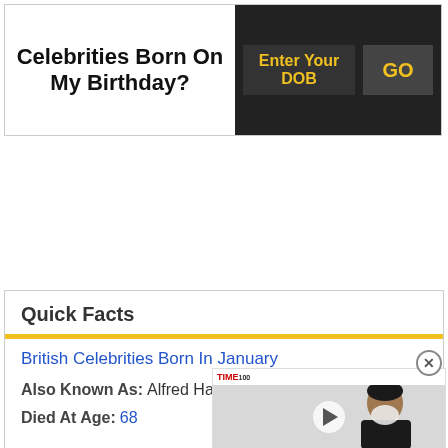Celebrities Born On My Birthday?
Enter Your DOB | GO
Quick Facts
British Celebrities Born In January
Also Known As: Alfred Haw...
Died At Age: 68
Family: